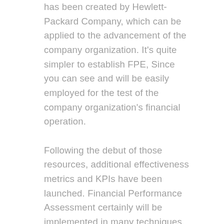has been created by Hewlett-Packard Company, which can be applied to the advancement of the company organization. It's quite simpler to establish FPE, Since you can see and will be easily employed for the test of the company organization's financial operation. Following the debut of those resources, additional effectiveness metrics and KPIs have been launched. Financial Performance Assessment certainly will be implemented in many techniques and was used like a process for evaluating the